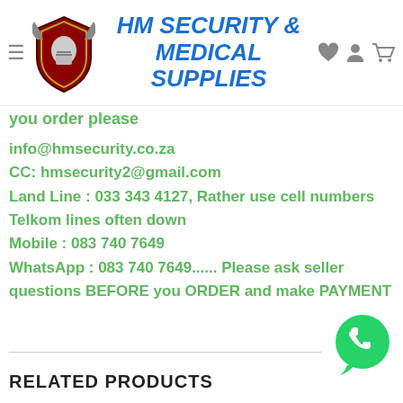HM SECURITY & MEDICAL SUPPLIES
you order please
info@hmsecurity.co.za
CC: hmsecurity2@gmail.com
Land Line : 033 343 4127, Rather use cell numbers Telkom lines often down
Mobile : 083 740 7649
WhatsApp : 083 740 7649...... Please ask seller questions BEFORE you ORDER and make PAYMENT
RELATED PRODUCTS